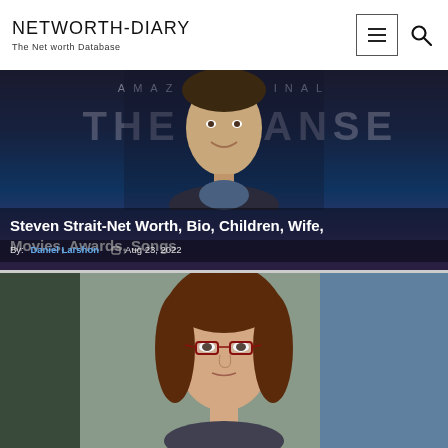NETWORTH-DIARY
The Net worth Database
[Figure (photo): Steven Strait smiling at an Amazon Original: The Expanse promotional event, dark background with large text overlay]
Steven Strait-Net Worth, Bio, Children, Wife, Movies, Awards, Songs
By: Daniel Larshon  Aug 23, 2022
[Figure (photo): A woman with brown shoulder-length hair and red-framed glasses, looking slightly to the side, blurred office background]